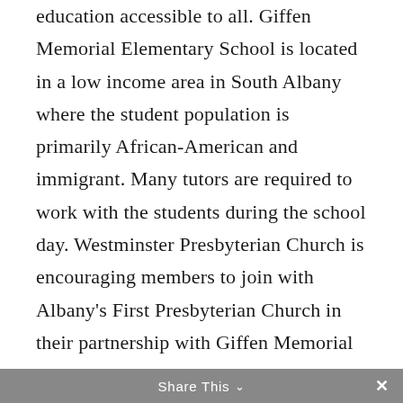education accessible to all. Giffen Memorial Elementary School is located in a low income area in South Albany where the student population is primarily African-American and immigrant. Many tutors are required to work with the students during the school day. Westminster Presbyterian Church is encouraging members to join with Albany's First Presbyterian Church in their partnership with Giffen Memorial Elementary School in Albany's South End to: Tutor in the Classrooms at Giffen Memorial Elementary School Put tutors in classrooms to help teachers during the school day for 1-2 hours. This occurs during the school
Share This ∨  ×